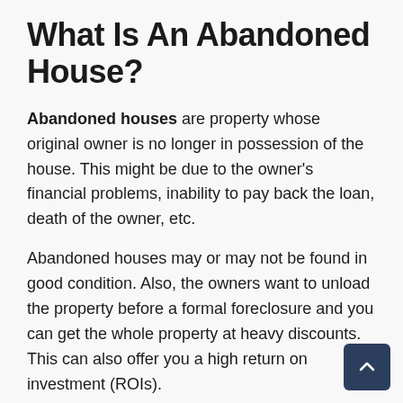What Is An Abandoned House?
Abandoned houses are property whose original owner is no longer in possession of the house. This might be due to the owner's financial problems, inability to pay back the loan, death of the owner, etc.
Abandoned houses may or may not be found in good condition. Also, the owners want to unload the property before a formal foreclosure and you can get the whole property at heavy discounts. This can also offer you a high return on investment (ROIs).
Many times, the law does not easily allow